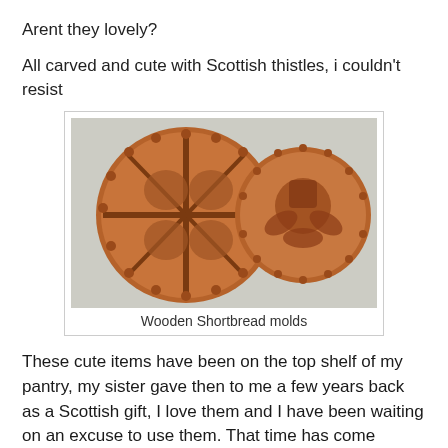Arent they lovely?
All carved and cute with Scottish thistles, i couldn't resist
[Figure (photo): Two round wooden shortbread molds with carved Scottish thistle designs, placed on a speckled countertop surface.]
Wooden Shortbread molds
These cute items have been on the top shelf of my pantry, my sister gave then to me a few years back as a Scottish gift, I love them and I have been waiting on an excuse to use them. That time has come